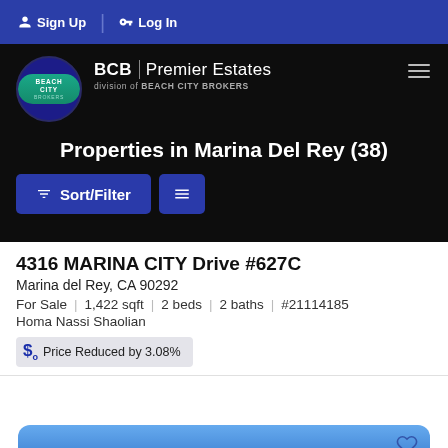Sign Up  Log In
[Figure (logo): Beach City Brokers / BCB Premier Estates logo]
Properties in Marina Del Rey (38)
Sort/Filter
4316 MARINA CITY Drive #627C
Marina del Rey, CA 90292
For Sale  |  1,422 sqft  |  2 beds  |  2 baths  |  #21114185
Homa Nassi Shaolian
Price Reduced by 3.08%